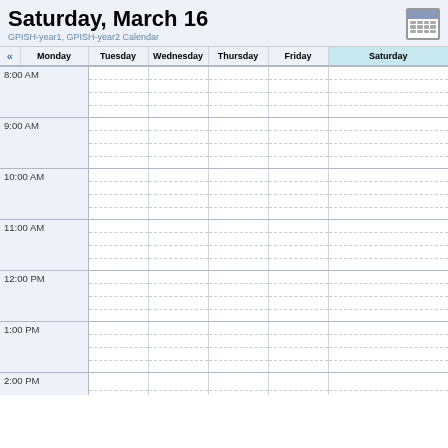Saturday, March 16
GPISH-year1, GPISH-year2 Calendar
| « | Monday | Tuesday | Wednesday | Thursday | Friday | Saturday |
| --- | --- | --- | --- | --- | --- | --- |
| 8:00 AM |  |  |  |  |  |  |
| 9:00 AM |  |  |  |  |  |  |
| 10:00 AM |  |  |  |  |  |  |
| 11:00 AM |  |  |  |  |  |  |
| 12:00 PM |  |  |  |  |  |  |
| 1:00 PM |  |  |  |  |  |  |
| 2:00 PM |  |  |  |  |  |  |